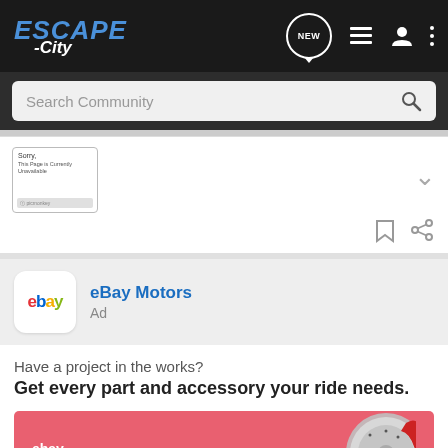[Figure (screenshot): Escape City app top navigation bar with logo, NEW chat bubble, list icon, user icon, and 3-dot menu icon]
[Figure (screenshot): Search Community input bar with magnifying glass icon]
[Figure (screenshot): Post preview thumbnail showing a Sorry image unavailable placeholder with chevron down icon]
[Figure (screenshot): Bookmark and share action icons]
[Figure (screenshot): eBay Motors ad unit header with eBay logo and Ad label]
Have a project in the works?
Get every part and accessory your ride needs.
[Figure (screenshot): eBay Motors pink ad banner with ebay motors logo text and partial automotive image]